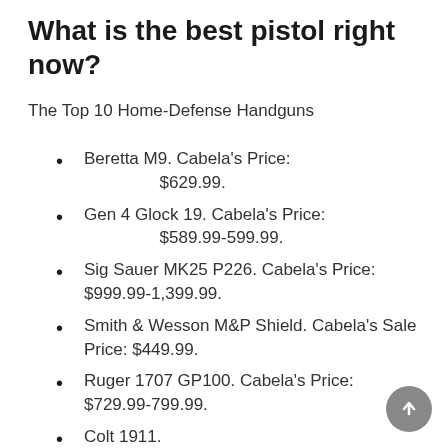What is the best pistol right now?
The Top 10 Home-Defense Handguns
Beretta M9. Cabela's Price: $629.99.
Gen 4 Glock 19. Cabela's Price: $589.99-599.99.
Sig Sauer MK25 P226. Cabela's Price: $999.99-1,399.99.
Smith & Wesson M&P Shield. Cabela's Sale Price: $449.99.
Ruger 1707 GP100. Cabela's Price: $729.99-799.99.
Colt 1911.